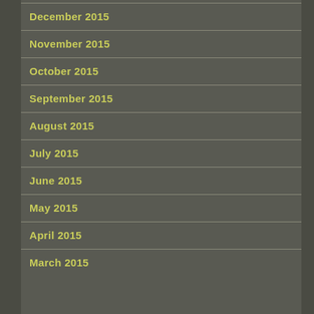December 2015
November 2015
October 2015
September 2015
August 2015
July 2015
June 2015
May 2015
April 2015
March 2015